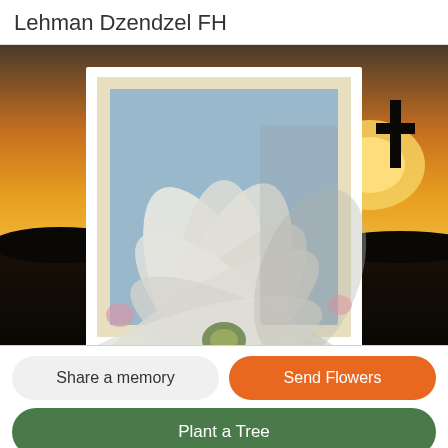Lehman Dzendzel FH
[Figure (illustration): A composite image: background shows a sunset sky (orange/yellow gradient) with three black cross silhouettes on the horizon. In the foreground, a white-framed portrait photo of a white cosmos flower photographed from below against a light blue sky.]
Share a memory
Send Flowers
Plant a Tree